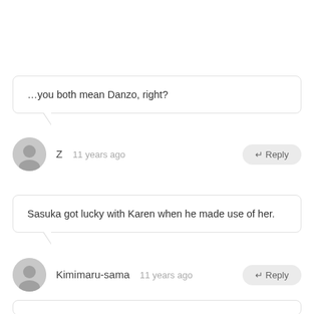…you both mean Danzo, right?
Z  11 years ago
↵ Reply
Sasuka got lucky with Karen when he made use of her.
Kimimaru-sama  11 years ago
↵ Reply